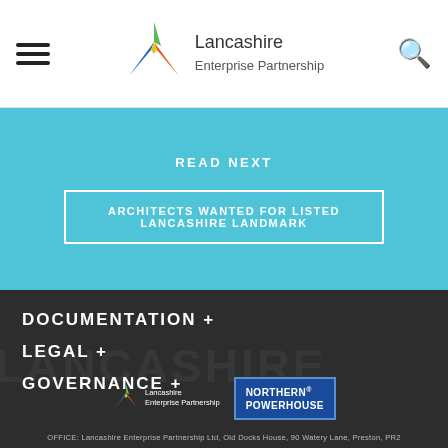[Figure (logo): Lancashire Enterprise Partnership logo with colorful star/chevron icon and text 'Lancashire Enterprise Partnership']
READ NEXT
ARCHITECTS WANTED FOR LISTED LANCASHIRE LANDMARK
DOCUMENTATION +
LEGAL +
GOVERNANCE +
[Figure (logo): Lancashire Enterprise Partnership small logo]
[Figure (logo): Northern Powerhouse logo]
OFFICE: Lancashire Enterprise Partnership Ltd, Old Docks House, 90 Watery Lane, Preston, PR2